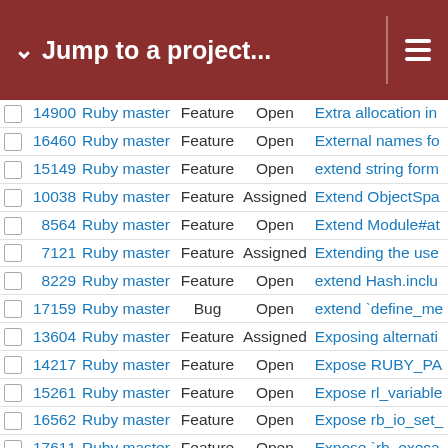Jump to a project...
|  | # | Project | Type | Status | Subject |
| --- | --- | --- | --- | --- | --- |
|  | 14900 | Ruby master | Feature | Open | Extra allocation in |
|  | 16460 | Ruby master | Feature | Open | External names fo |
|  | 15149 | Ruby master | Feature | Open | extend string form |
|  | 10038 | Ruby master | Feature | Assigned | Extend ObjectSpa |
|  | 8564 | Ruby master | Feature | Open | Extend Module#at |
|  | 7121 | Ruby master | Feature | Assigned | Extending the use |
|  | 8229 | Ruby master | Feature | Open | extend Hash.inclu |
|  | 17159 | Ruby master | Bug | Open | extend `define_me |
|  | 13604 | Ruby master | Feature | Assigned | Exposing alternati |
|  | 14217 | Ruby master | Feature | Open | Expose RUBY_PA |
|  | 15261 | Ruby master | Feature | Open | Expose rl_variable |
|  | 16562 | Ruby master | Feature | Open | Expose rb_io_set_ |
|  | 17611 | Ruby master | Feature | Open | Expose `rb_execa |
|  | 18821 | Ruby master | Feature | Open | Expose Pattern M |
|  | 11955 | Ruby master | Feature | Assigned | Expose Object tha |
|  | 14896 | Ruby master | Feature | Open | Expose Net::HTTP |